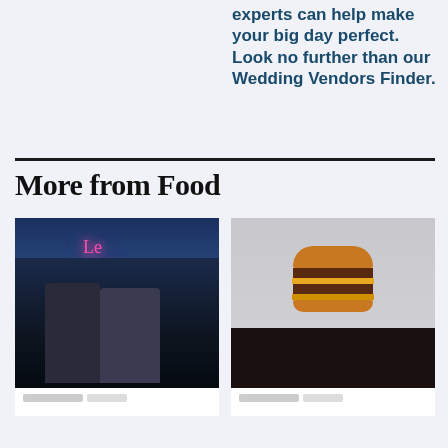experts can help make your big day perfect. Look no further than our Wedding Vendors Finder.
More from Food
[Figure (photo): Nighttime rooftop scene with two men, pink neon sign reading 'Le Mont Royal' in the background]
[Figure (photo): Woman holding a large double cheeseburger in front of her face against a light grey background]